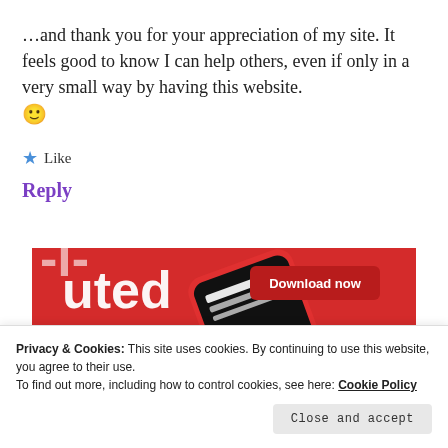…and thank you for your appreciation of my site. It feels good to know I can help others, even if only in a very small way by having this website. 🙂
★ Like
Reply
[Figure (photo): Advertisement banner showing a smartphone with a red case on a red background, displaying a podcast/audio app interface. A 'Download now' button appears in the upper right of the banner.]
Privacy & Cookies: This site uses cookies. By continuing to use this website, you agree to their use.
To find out more, including how to control cookies, see here: Cookie Policy
Close and accept